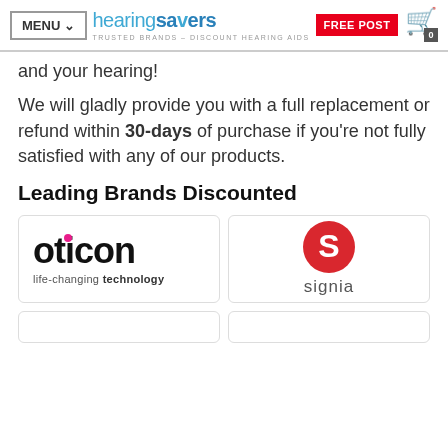MENU | hearing savers — TRUSTED BRANDS – DISCOUNT HEARING AIDS | FREE POST | 0
and your hearing!
We will gladly provide you with a full replacement or refund within 30-days of purchase if you're not fully satisfied with any of our products.
Leading Brands Discounted
[Figure (logo): Oticon logo with pink dot over the i, tagline: life-changing technology]
[Figure (logo): Signia logo: red circle with white S letter, text 'signia' below]
[Figure (logo): Partial brand card (bottom, left), clipped]
[Figure (logo): Partial brand card (bottom, right), clipped]